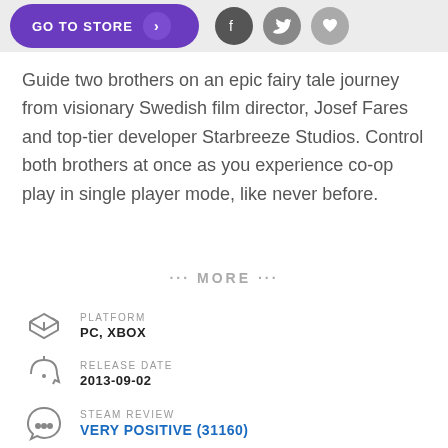[Figure (screenshot): Top bar with purple GO TO STORE button and social media icons (Facebook, Twitter, heart/wishlist)]
Guide two brothers on an epic fairy tale journey from visionary Swedish film director, Josef Fares and top-tier developer Starbreeze Studios. Control both brothers at once as you experience co-op play in single player mode, like never before.
··· MORE ···
PLATFORM
PC, XBOX
RELEASE DATE
2013-09-02
STEAM REVIEW
VERY POSITIVE (31160)
METACRITIC
SCORE: 90